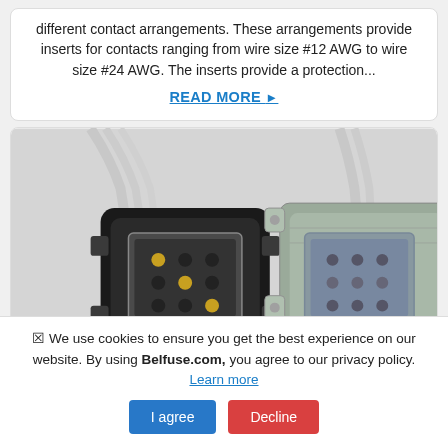different contact arrangements. These arrangements provide inserts for contacts ranging from wire size #12 AWG to wire size #24 AWG. The inserts provide a protection...
READ MORE ▶
[Figure (photo): Two electrical connectors: a black square multi-pin connector on the left attached to white cables, and a silver/metallic square multi-pin panel-mount connector on the right, also with cables. Both show square pin arrays inside.]
☒ We use cookies to ensure you get the best experience on our website. By using Belfuse.com, you agree to our privacy policy. Learn more
I agree
Decline